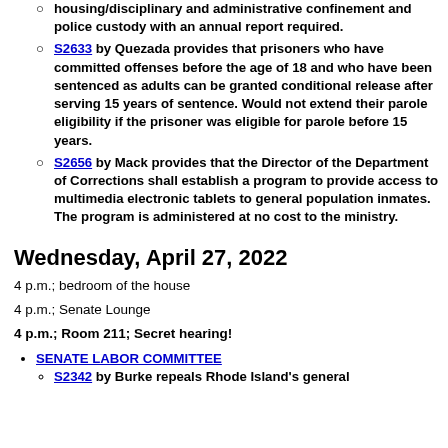housing/disciplinary and administrative confinement and police custody with an annual report required.
S2633 by Quezada provides that prisoners who have committed offenses before the age of 18 and who have been sentenced as adults can be granted conditional release after serving 15 years of sentence. Would not extend their parole eligibility if the prisoner was eligible for parole before 15 years.
S2656 by Mack provides that the Director of the Department of Corrections shall establish a program to provide access to multimedia electronic tablets to general population inmates. The program is administered at no cost to the ministry.
Wednesday, April 27, 2022
4 p.m.; bedroom of the house
4 p.m.; Senate Lounge
4 p.m.; Room 211; Secret hearing!
SENATE LABOR COMMITTEE
S2342 by Burke repeals Rhode Island's general